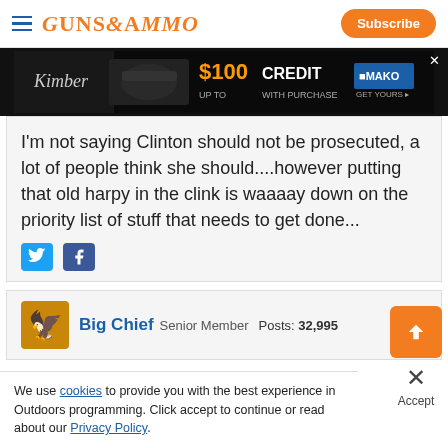GUNS&AMMO | Subscribe
[Figure (screenshot): Advertisement banner: Kimber $100 CREDIT with purchase, MAKO logo]
I'm not saying Clinton should not be prosecuted, a lot of people think she should....however putting that old harpy in the clink is waaaay down on the priority list of stuff that needs to get done...
[Figure (other): Twitter and Facebook share icons]
Big Chief  Senior Member   Posts: 32,995
We use cookies to provide you with the best experience in Outdoors programming. Click accept to continue or read about our Privacy Policy.